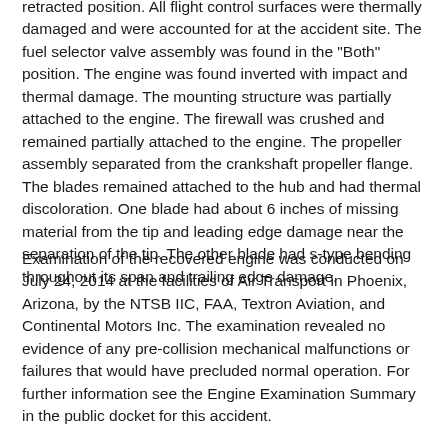retracted position. All flight control surfaces were thermally damaged and were accounted for at the accident site. The fuel selector valve assembly was found in the "Both" position. The engine was found inverted with impact and thermal damage. The mounting structure was partially attached to the engine. The firewall was crushed and remained partially attached to the engine. The propeller assembly separated from the crankshaft propeller flange. The blades remained attached to the hub and had thermal discoloration. One blade had about 6 inches of missing material from the tip and leading edge damage near the separation of the tip. The other blade had s-type bending throughout its span and trailing edge damage.
Examination of the recovered engine was conducted on July 24, 2014 at the facilities of Air Transport in Phoenix, Arizona, by the NTSB IIC, FAA, Textron Aviation, and Continental Motors Inc. The examination revealed no evidence of any pre-collision mechanical malfunctions or failures that would have precluded normal operation. For further information see the Engine Examination Summary in the public docket for this accident.